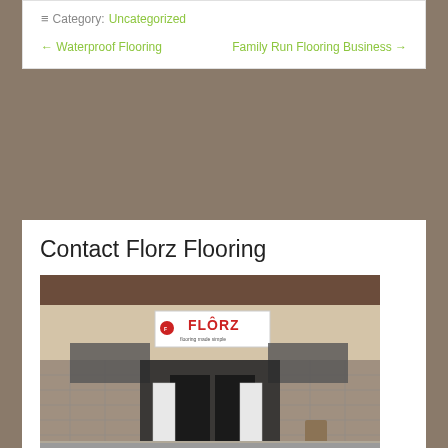≡ Category: Uncategorized
← Waterproof Flooring    Family Run Flooring Business →
Contact Florz Flooring
[Figure (photo): Exterior storefront of Florz Flooring store showing the FLORZ 'flooring made simple' sign above the entrance, stone facade, and display boards near the door.]
507 Beckett Rd